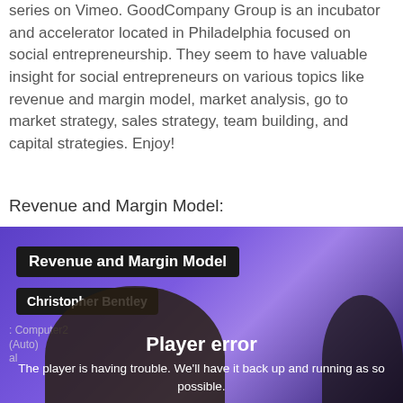series on Vimeo. GoodCompany Group is an incubator and accelerator located in Philadelphia focused on social entrepreneurship. They seem to have valuable insight for social entrepreneurs on various topics like revenue and margin model, market analysis, go to market strategy, sales strategy, team building, and capital strategies. Enjoy!
Revenue and Margin Model:
[Figure (screenshot): Video player screenshot showing a Vimeo video titled 'Revenue and Margin Model' by Christopher Bentley. The player shows a purple/dark background with a person presenting. A player error overlay reads 'Player error - The player is having trouble. We'll have it back up and running as soon as possible.' Additional text shows 'Computer2 (Auto)' on the left side.]